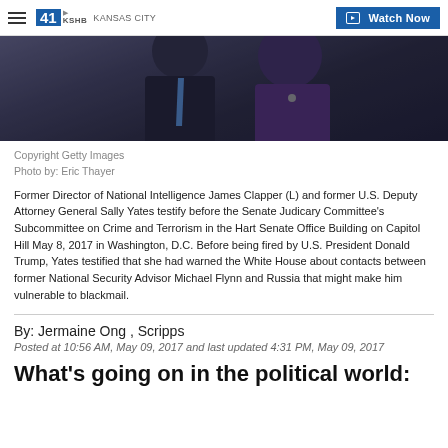41 KSHB KANSAS CITY | Watch Now
[Figure (photo): Two people testifying before a Senate committee — man in dark suit with blue tie on left, woman in purple jacket on right, dark blurred background]
Copyright Getty Images
Photo by: Eric Thayer
Former Director of National Intelligence James Clapper (L) and former U.S. Deputy Attorney General Sally Yates testify before the Senate Judicary Committee's Subcommittee on Crime and Terrorism in the Hart Senate Office Building on Capitol Hill May 8, 2017 in Washington, D.C. Before being fired by U.S. President Donald Trump, Yates testified that she had warned the White House about contacts between former National Security Advisor Michael Flynn and Russia that might make him vulnerable to blackmail.
By: Jermaine Ong , Scripps
Posted at 10:56 AM, May 09, 2017 and last updated 4:31 PM, May 09, 2017
What's going on in the political world: